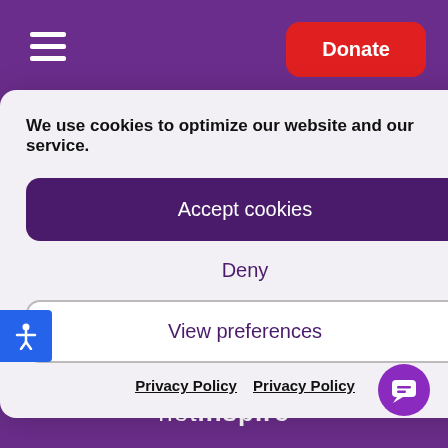≡  Donate
We use cookies to optimize our website and our service.
Accept cookies
Deny
View preferences
Privacy Policy   Privacy Policy
Safeguarding Statement
Careers | About Us | Donate | Chat Provider: LiveChat
netinspire